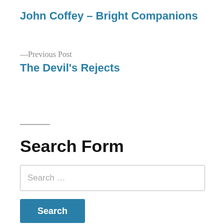John Coffey – Bright Companions
—Previous Post
The Devil's Rejects
Search Form
Search …
Search